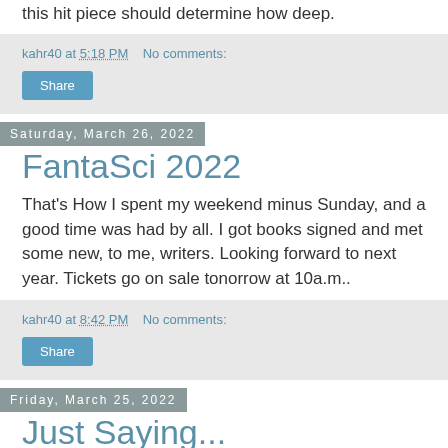this hit piece should determine how deep.
kahr40 at 5:18 PM   No comments:
Share
Saturday, March 26, 2022
FantaSci 2022
That's How I spent my weekend minus Sunday, and a good time was had by all. I got books signed and met some new, to me, writers. Looking forward to next year. Tickets go on sale tonorrow at 10a.m..
kahr40 at 8:42 PM   No comments:
Share
Friday, March 25, 2022
Just Saying...